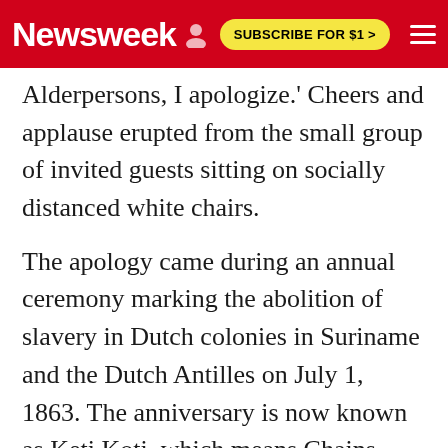Newsweek | SUBSCRIBE FOR $1 >
Alderpersons, I apologize.' Cheers and applause erupted from the small group of invited guests sitting on socially distanced white chairs.
The apology came during an annual ceremony marking the abolition of slavery in Dutch colonies in Suriname and the Dutch Antilles on July 1, 1863. The anniversary is now known as Keti Koti, which means Chains Broken.
Activists say many people who had been enslaved were forced to work without pay for